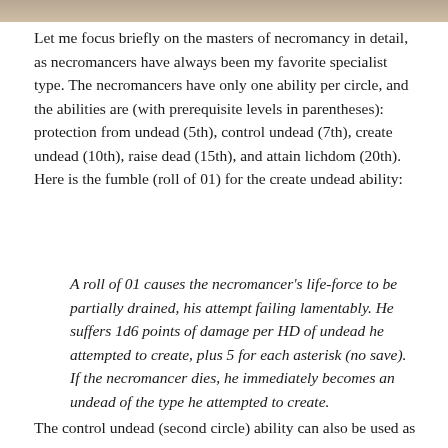[Figure (photo): Cropped top portion of a page image, partially visible, showing text and a label 'Time and Money']
Let me focus briefly on the masters of necromancy in detail, as necromancers have always been my favorite specialist type. The necromancers have only one ability per circle, and the abilities are (with prerequisite levels in parentheses): protection from undead (5th), control undead (7th), create undead (10th), raise dead (15th), and attain lichdom (20th). Here is the fumble (roll of 01) for the create undead ability:
A roll of 01 causes the necromancer's life-force to be partially drained, his attempt failing lamentably. He suffers 1d6 points of damage per HD of undead he attempted to create, plus 5 for each asterisk (no save). If the necromancer dies, he immediately becomes an undead of the type he attempted to create.
The control undead (second circle) ability can also be used as